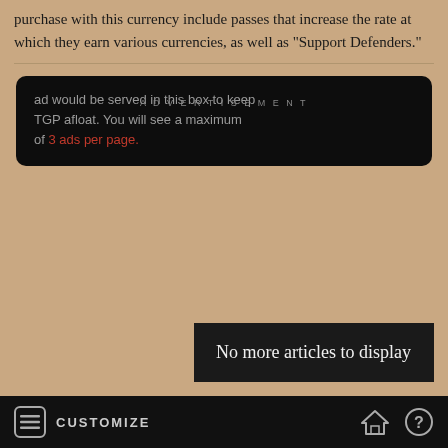purchase with this currency include passes that increase the rate at which they earn various currencies, as well as "Support Defenders."
[Figure (other): Advertisement box with dark background. Text reads: 'ad would be served in this box to keep TGP afloat. You will see a maximum of 3 ads per page.' with 'ADVERTISEMENT' label and '3 ads per page.' in red.]
No more articles to display
CUSTOMIZE